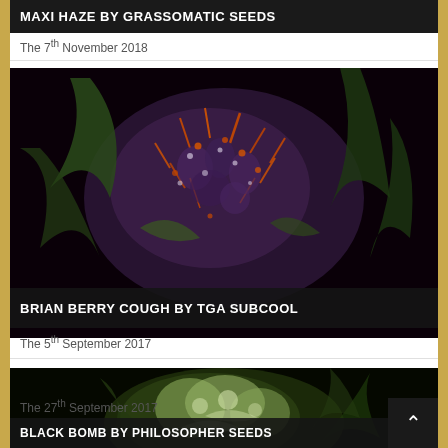MAXI HAZE BY GRASSOMATIC SEEDS
The 7th November 2018
[Figure (photo): Close-up photo of Brian Berry Cough cannabis flower with purple, orange, and green coloring against dark background]
BRIAN BERRY COUGH BY TGA SUBCOOL
The 5th September 2017
[Figure (photo): Close-up photo of Black Bomb cannabis flower with white/green coloring against dark background]
BLACK BOMB BY PHILOSOPHER SEEDS
The 27th September 2017